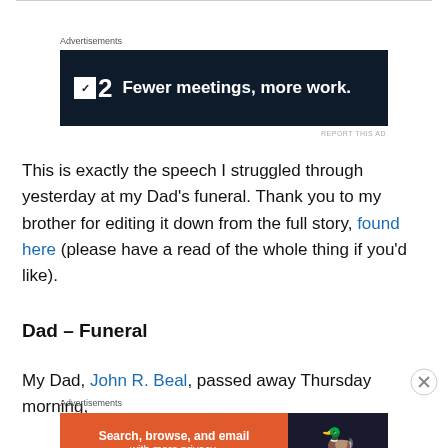[Figure (other): Advertisement banner: dark navy background with logo showing a small white square with a checkmark-like mark followed by '2' and tagline 'Fewer meetings, more work.']
This is exactly the speech I struggled through yesterday at my Dad's funeral. Thank you to my brother for editing it down from the full story, found here (please have a read of the whole thing if you'd like).
Dad – Funeral
My Dad, John R. Beal, passed away Thursday morning,
[Figure (other): Advertisement banner: orange background with text 'Search, browse, and email with more privacy. All in One Free App' and DuckDuckGo logo on dark right panel.]